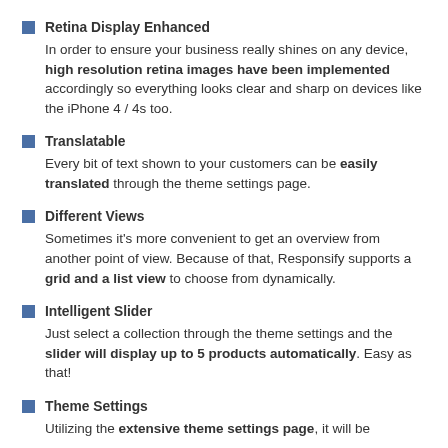Retina Display Enhanced
In order to ensure your business really shines on any device, high resolution retina images have been implemented accordingly so everything looks clear and sharp on devices like the iPhone 4 / 4s too.
Translatable
Every bit of text shown to your customers can be easily translated through the theme settings page.
Different Views
Sometimes it's more convenient to get an overview from another point of view. Because of that, Responsify supports a grid and a list view to choose from dynamically.
Intelligent Slider
Just select a collection through the theme settings and the slider will display up to 5 products automatically. Easy as that!
Theme Settings
Utilizing the extensive theme settings page, it will be